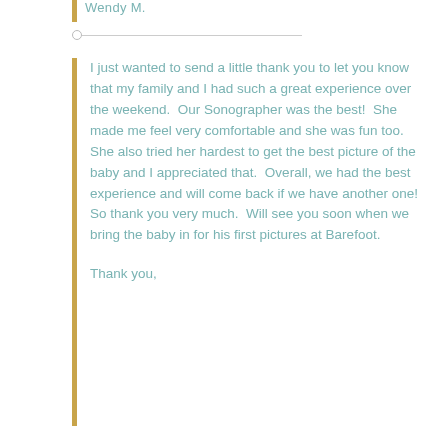Wendy M.
I just wanted to send a little thank you to let you know that my family and I had such a great experience over the weekend.  Our Sonographer was the best!  She made me feel very comfortable and she was fun too.  She also tried her hardest to get the best picture of the baby and I appreciated that.  Overall, we had the best experience and will come back if we have another one!  So thank you very much.  Will see you soon when we bring the baby in for his first pictures at Barefoot.
Thank you,